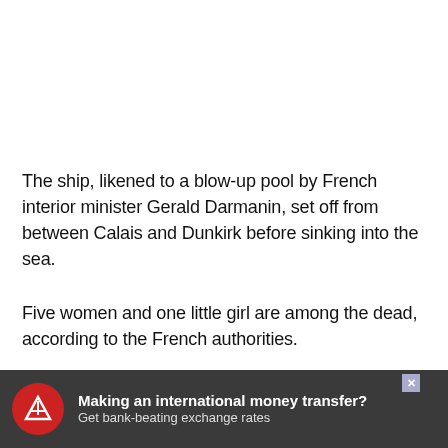The ship, likened to a blow-up pool by French interior minister Gerald Darmanin, set off from between Calais and Dunkirk before sinking into the sea.
Five women and one little girl are among the dead, according to the French authorities.
– November 4, 2021
[Figure (infographic): Advertisement banner at the bottom of the page for an international money transfer service. Dark grey background with red circular logo featuring a white bird/eagle. Text reads: 'Making an international money transfer? Get bank-beating exchange rates']